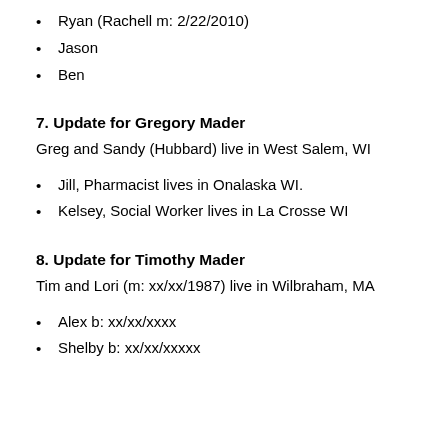Ryan (Rachell m: 2/22/2010)
Jason
Ben
7. Update for Gregory Mader
Greg and Sandy (Hubbard) live in West Salem, WI
Jill, Pharmacist lives in Onalaska WI.
Kelsey, Social Worker lives in La Crosse WI
8. Update for Timothy Mader
Tim and Lori (m: xx/xx/1987) live in Wilbraham, MA
Alex b: xx/xx/xxxx
Shelby b: xx/xx/xxxxx